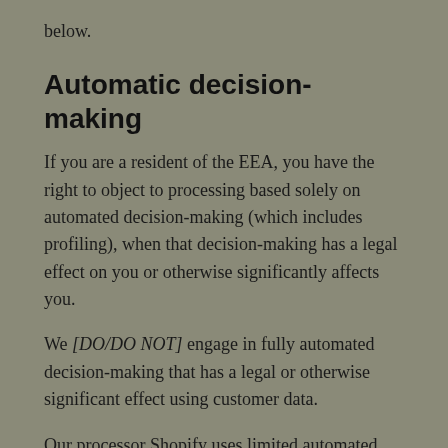below.
Automatic decision-making
If you are a resident of the EEA, you have the right to object to processing based solely on automated decision-making (which includes profiling), when that decision-making has a legal effect on you or otherwise significantly affects you.
We [DO/DO NOT] engage in fully automated decision-making that has a legal or otherwise significant effect using customer data.
Our processor Shopify uses limited automated